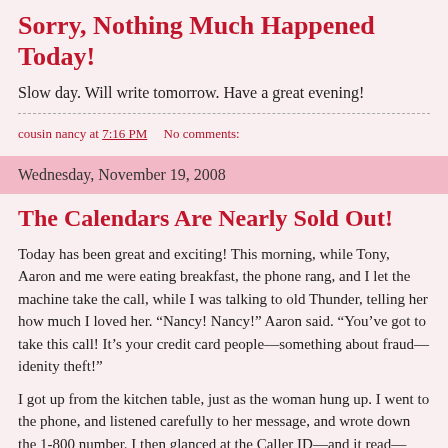Sorry, Nothing Much Happened Today!
Slow day. Will write tomorrow. Have a great evening!
cousin nancy at 7:16 PM    No comments:
Wednesday, November 19, 2008
The Calendars Are Nearly Sold Out!
Today has been great and exciting! This morning, while Tony, Aaron and me were eating breakfast, the phone rang, and I let the machine take the call, while I was talking to old Thunder, telling her how much I loved her. “Nancy! Nancy!” Aaron said. “You’ve got to take this call! It’s your credit card people—something about fraud—idenity theft!”
I got up from the kitchen table, just as the woman hung up. I went to the phone, and listened carefully to her message, and wrote down the 1-800 number. I then glanced at the Caller ID—and it read—Caller Unknown! Hmmm.